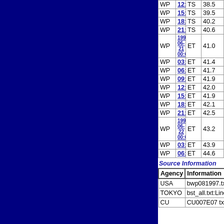|  |  |  |  |
| --- | --- | --- | --- |
| WP | 12:00:00 | TS | 38.5 |
| WP | 15:00:00 | TS | 39.5 |
| WP | 18:00:00 | TS | 40.2 |
| WP | 21:00:00 | TS | 40.6 |
| WP | 1997-06-21 00:00:00 | ET | 41.0 |
| WP | 03:00:00 | ET | 41.4 |
| WP | 06:00:00 | ET | 41.7 |
| WP | 09:00:00 | ET | 41.9 |
| WP | 12:00:00 | ET | 42.0 |
| WP | 15:00:00 | ET | 41.9 |
| WP | 18:00:00 | ET | 42.1 |
| WP | 21:00:00 | ET | 42.5 |
| WP | 1997-06-22 00:00:00 | ET | 43.2 |
| WP | 03:00:00 | ET | 43.9 |
| WP | 06:00:00 | ET | 44.6 |
Source Information
| Agency | Information |
| --- | --- |
| USA | bwp081997.txt |
| TOKYO | bst_all.txt:Line=47065:OR |
| CU | CU007E07 txt C... |